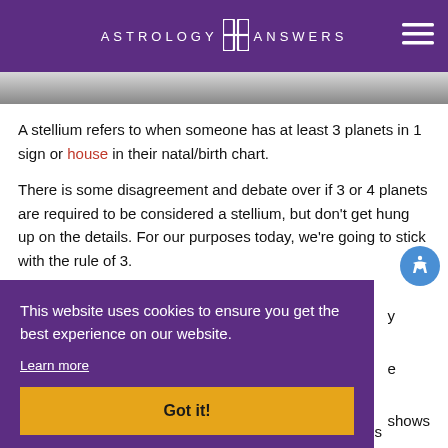ASTROLOGY ANSWERS
[Figure (photo): Partial image strip visible at top of content area]
A stellium refers to when someone has at least 3 planets in 1 sign or house in their natal/birth chart.
There is some disagreement and debate over if 3 or 4 planets are required to be considered a stellium, but don't get hung up on the details. For our purposes today, we're going to stick with the rule of 3.
This website uses cookies to ensure you get the best experience on our website.
Learn more
Got it!
What does this mean as far as how it affects our minds